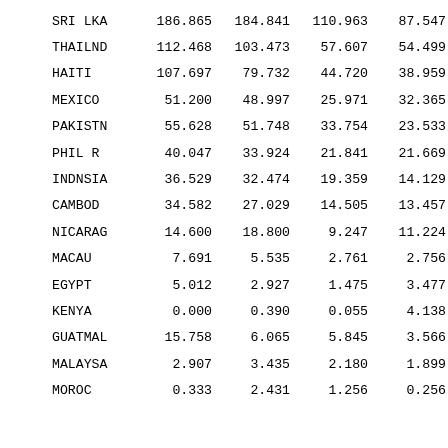| SRI LKA | 186.865 | 184.841 | 110.963 | 87.547 |
| THAILND | 112.468 | 103.473 | 57.607 | 54.499 |
| HAITI | 107.697 | 79.732 | 44.720 | 38.959 |
| MEXICO | 51.200 | 48.997 | 25.971 | 32.365 |
| PAKISTN | 55.628 | 51.748 | 33.754 | 23.533 |
| PHIL R | 40.047 | 33.924 | 21.841 | 21.669 |
| INDNSIA | 36.529 | 32.474 | 19.359 | 14.129 |
| CAMBOD | 34.582 | 27.029 | 14.505 | 13.457 |
| NICARAG | 14.600 | 18.800 | 9.247 | 11.224 |
| MACAU | 7.691 | 5.535 | 2.761 | 2.756 |
| EGYPT | 5.012 | 2.927 | 1.475 | 3.477 |
| KENYA | 0.000 | 0.390 | 0.055 | 4.138 |
| GUATMAL | 15.758 | 6.065 | 5.845 | 3.566 |
| MALAYSA | 2.907 | 3.435 | 2.180 | 1.899 |
| MOROC | 0.333 | 2.431 | 1.256 | 0.256 |